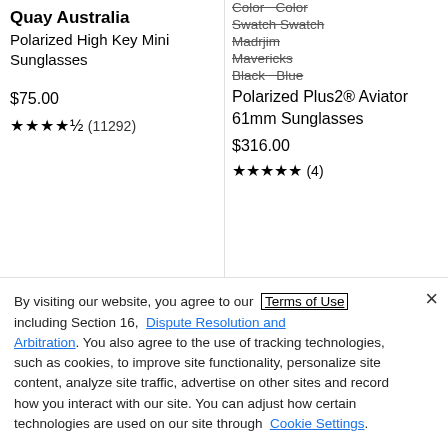Quay Australia
Polarized High Key Mini Sunglasses
$75.00
★★★★½ (11292)
Color Color Swatch Swatch Madrjim Mavericks Black Blue Polarized Plus2® Aviator 61mm Sunglasses $316.00 ★★★★★ (4)
[Figure (screenshot): Broken image icon for Jimmy Choo Women's Olly 60mm Aviator Sunglasses product]
Jimmy Choo Women's Olly 60mm Aviator Sunglasses
By visiting our website, you agree to our Terms of Use including Section 16, Dispute Resolution and Arbitration. You also agree to the use of tracking technologies, such as cookies, to improve site functionality, personalize site content, analyze site traffic, advertise on other sites and record how you interact with our site. You can adjust how certain technologies are used on our site through Cookie Settings.